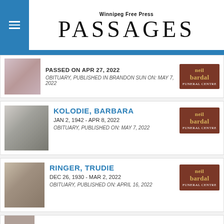Winnipeg Free Press PASSAGES
PASSED ON APR 27, 2022
OBITUARY, PUBLISHED IN BRANDON SUN ON: MAY 7, 2022
KOLODIE, BARBARA
JAN 2, 1942 - APR 8, 2022
OBITUARY, PUBLISHED ON: MAY 7, 2022
RINGER, TRUDIE
DEC 26, 1930 - MAR 2, 2022
OBITUARY, PUBLISHED ON: APRIL 16, 2022